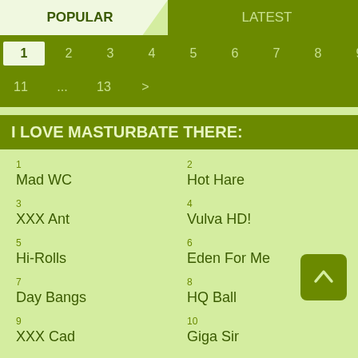POPULAR
LATEST
1 2 3 4 5 6 7 8 9 10
11 ... 13 >
I LOVE MASTURBATE THERE:
1
Mad WC
2
Hot Hare
3
XXX Ant
4
Vulva HD!
5
Hi-Rolls
6
Eden For Me
7
Day Bangs
8
HQ Ball
9
XXX Cad
10
Giga Sir